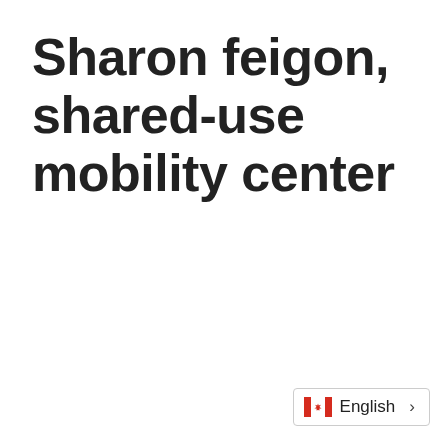Sharon feigon, shared-use mobility center
[Figure (other): Language selector widget showing Canadian flag emoji and 'English' text with a right chevron arrow, inside a rounded rectangle border]